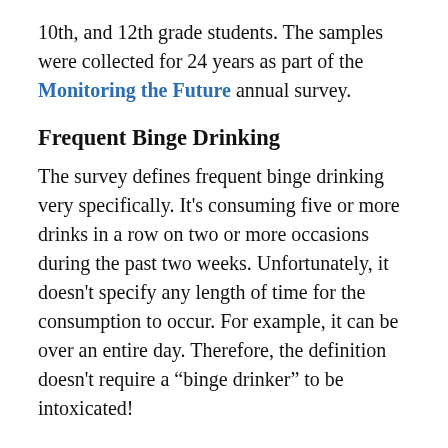10th, and 12th grade students. The samples were collected for 24 years as part of the Monitoring the Future annual survey.
Frequent Binge Drinking
The survey defines frequent binge drinking very specifically. It's consuming five or more drinks in a row on two or more occasions during the past two weeks. Unfortunately, it doesn't specify any length of time for the consumption to occur. For example, it can be over an entire day. Therefore, the definition doesn't require a “binge drinker” to be intoxicated!